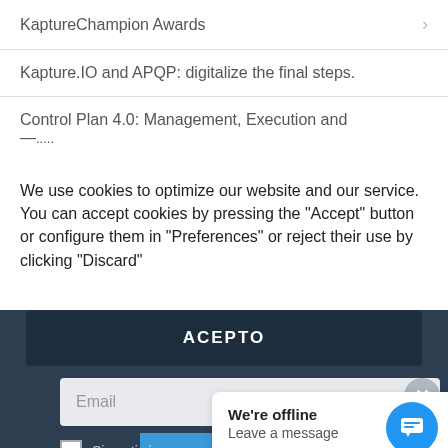KaptureChampion Awards
Kapture.IO and APQP: digitalize the final steps.
Control Plan 4.0: Management, Execution and —...
We use cookies to optimize our website and our service. You can accept cookies by pressing the "Accept" button or configure them in "Preferences" or reject their use by clicking "Discard"
ACEPTO
Email
QUALITY 4.0: JOIN US!
We're offline
Leave a message
Si continúas, a